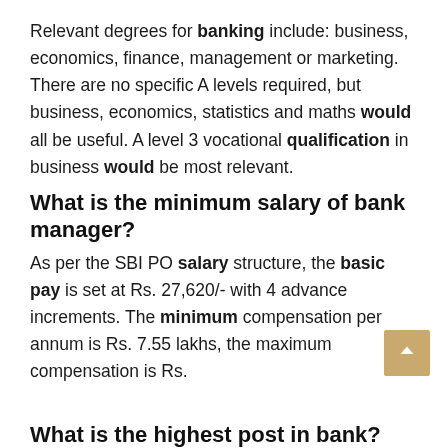Relevant degrees for banking include: business, economics, finance, management or marketing. There are no specific A levels required, but business, economics, statistics and maths would all be useful. A level 3 vocational qualification in business would be most relevant.
What is the minimum salary of bank manager?
As per the SBI PO salary structure, the basic pay is set at Rs. 27,620/- with 4 advance increments. The minimum compensation per annum is Rs. 7.55 lakhs, the maximum compensation is Rs.
What is the highest post in bank?